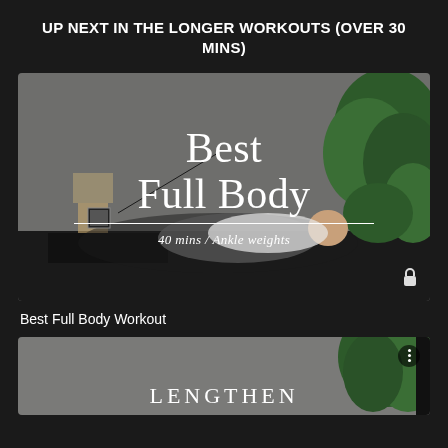UP NEXT IN THE LONGER WORKOUTS (OVER 30 MINS)
[Figure (screenshot): Fitness workout thumbnail showing a woman lying on her side lifting her leg, with text 'Best Full Body' and '40 mins / Ankle weights'. A lock icon is in the bottom right corner. Background shows plants and home setting.]
Best Full Body Workout
[Figure (screenshot): Partial fitness workout thumbnail showing the word 'LENGTHEN' at the bottom with plants visible on the right side. A dark circular menu icon is in the top right.]